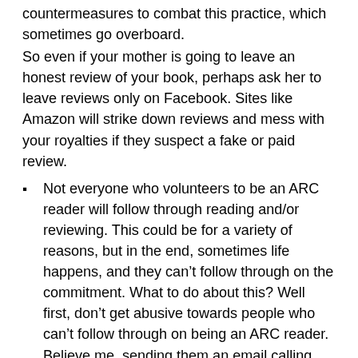countermeasures to combat this practice, which sometimes go overboard.
So even if your mother is going to leave an honest review of your book, perhaps ask her to leave reviews only on Facebook. Sites like Amazon will strike down reviews and mess with your royalties if they suspect a fake or paid review.
Not everyone who volunteers to be an ARC reader will follow through reading and/or reviewing. This could be for a variety of reasons, but in the end, sometimes life happens, and they can’t follow through on the commitment. What to do about this? Well first, don’t get abusive towards people who can’t follow through on being an ARC reader. Believe me, sending them an email calling them lazy shits won’t get you anywhere, and can actually ruin careers before they start.